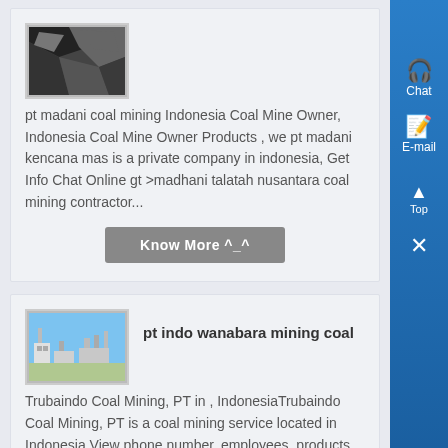[Figure (photo): Photo of coal/dark rocky material]
pt madani coal mining Indonesia Coal Mine Owner, Indonesia Coal Mine Owner Products , we pt madani kencana mas is a private company in indonesia, Get Info Chat Online gt >madhani talatah nusantara coal mining contractor...
Know More ^_^
[Figure (photo): Photo of industrial/mining facility with buildings and clear blue sky]
pt indo wanabara mining coal
Trubaindo Coal Mining, PT in , IndonesiaTrubaindo Coal Mining, PT is a coal mining service located in Indonesia View phone number, employees, products, Live Chat...
Know More ^_^